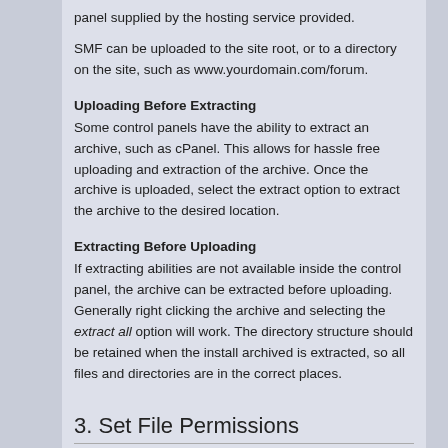panel supplied by the hosting service provided.
SMF can be uploaded to the site root, or to a directory on the site, such as www.yourdomain.com/forum.
Uploading Before Extracting
Some control panels have the ability to extract an archive, such as cPanel. This allows for hassle free uploading and extraction of the archive. Once the archive is uploaded, select the extract option to extract the archive to the desired location.
Extracting Before Uploading
If extracting abilities are not available inside the control panel, the archive can be extracted before uploading. Generally right clicking the archive and selecting the extract all option will work. The directory structure should be retained when the install archived is extracted, so all files and directories are in the correct places.
3. Set File Permissions